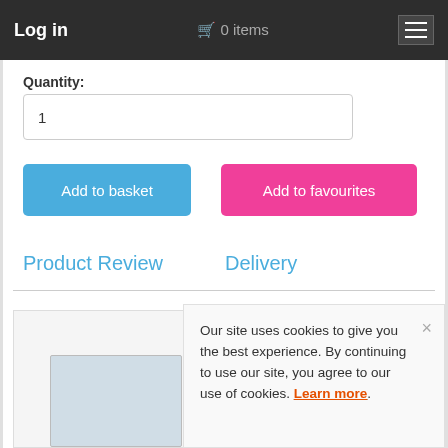Log in  🛒 0 items  ☰
Quantity:
1
Add to basket
Add to favourites
Product Review
Delivery
[Figure (photo): Product image placeholder in bottom left]
Our site uses cookies to give you the best experience. By continuing to use our site, you agree to our use of cookies. Learn more.